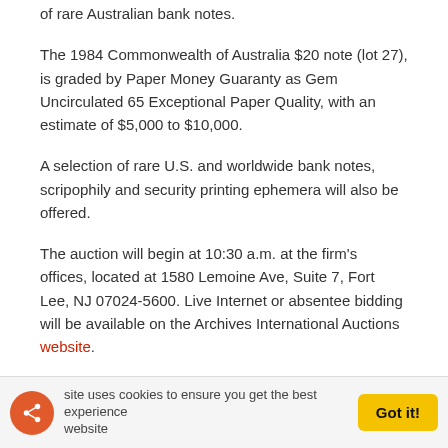of rare Australian bank notes.
The 1984 Commonwealth of Australia $20 note (lot 27), is graded by Paper Money Guaranty as Gem Uncirculated 65 Exceptional Paper Quality, with an estimate of $5,000 to $10,000.
A selection of rare U.S. and worldwide bank notes, scripophily and security printing ephemera will also be offered.
The auction will begin at 10:30 a.m. at the firm’s offices, located at 1580 Lemoine Ave, Suite 7, Fort Lee, NJ 07024-5600. Live Internet or absentee bidding will be available on the Archives International Auctions website.
Bidders can pre-register for live internet or absentee bidding by going to the website. The catalog is online at the website.
For more information about the auction or bidding online, telephone the firm at 201-944-4800, or send an email to info@archivesinternational.com.
Community Comments
Comments   Community   [lock icon]   [1 badge]   Login
site uses cookies to ensure you get the best experience   Got it!